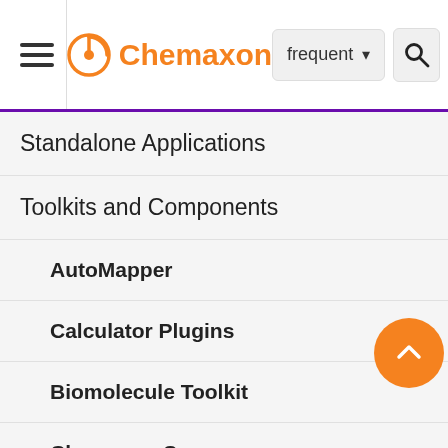Chemaxon — frequent — search
Standalone Applications
Toolkits and Components
AutoMapper
Calculator Plugins
Biomolecule Toolkit
Chemaxon Synergy
Document to Structure
JChem Base
JChem Base Administration
the type of the corres atoms and bonds are match we will ave to